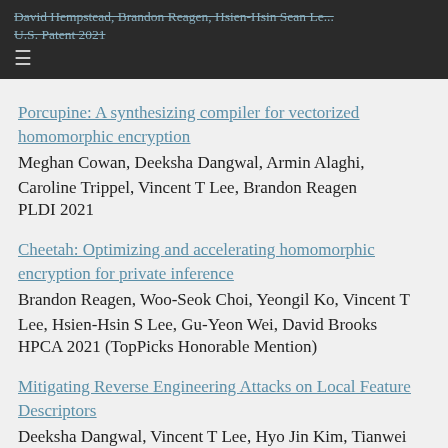David Hempstead, Brandon Reagen, Hsien-Hsin Sean Le... U.S. Patent 2021
Porcupine: A synthesizing compiler for vectorized homomorphic encryption
Meghan Cowan, Deeksha Dangwal, Armin Alaghi, Caroline Trippel, Vincent T Lee, Brandon Reagen
PLDI 2021
Cheetah: Optimizing and accelerating homomorphic encryption for private inference
Brandon Reagen, Woo-Seok Choi, Yeongil Ko, Vincent T Lee, Hsien-Hsin S Lee, Gu-Yeon Wei, David Brooks
HPCA 2021 (TopPicks Honorable Mention)
Mitigating Reverse Engineering Attacks on Local Feature Descriptors
Deeksha Dangwal, Vincent T Lee, Hyo Jin Kim, Tianwei Shen, Meghan Cowan, Rajvi Shah, Caroline Trippel,